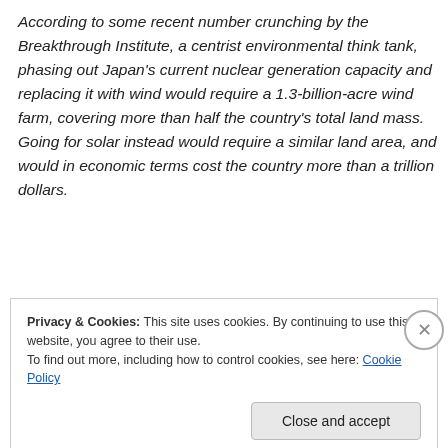According to some recent number crunching by the Breakthrough Institute, a centrist environmental think tank, phasing out Japan's current nuclear generation capacity and replacing it with wind would require a 1.3-billion-acre wind farm, covering more than half the country's total land mass. Going for solar instead would require a similar land area, and would in economic terms cost the country more than a trillion dollars.
Privacy & Cookies: This site uses cookies. By continuing to use this website, you agree to their use. To find out more, including how to control cookies, see here: Cookie Policy